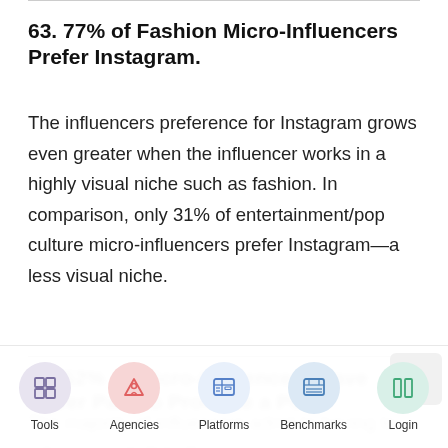63. 77% of Fashion Micro-Influencers Prefer Instagram.
The influencers preference for Instagram grows even greater when the influencer works in a highly visual niche such as fashion. In comparison, only 31% of entertainment/pop culture micro-influencers prefer Instagram—a less visual niche.
64. 52% of Micro-Influencers Have Never Paid to Promote a Post.
The majority of influencers admit to having to influence with Bitly Promotions and...